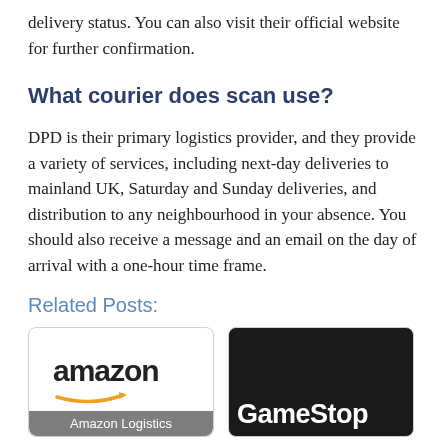delivery status. You can also visit their official website for further confirmation.
What courier does scan use?
DPD is their primary logistics provider, and they provide a variety of services, including next-day deliveries to mainland UK, Saturday and Sunday deliveries, and distribution to any neighbourhood in your absence. You should also receive a message and an email on the day of arrival with a one-hour time frame.
Related Posts:
[Figure (illustration): Amazon logo card with 'Amazon Logistics' label overlay]
[Figure (illustration): GameStop logo on dark background card]